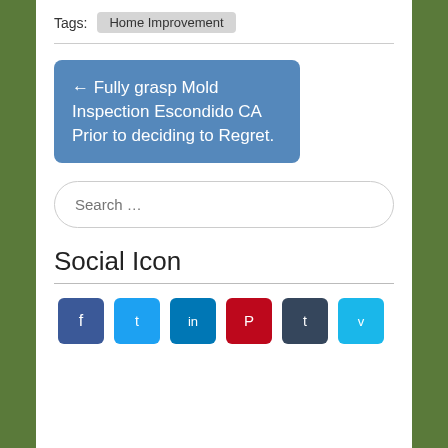Tags:  Home Improvement
← Fully grasp Mold Inspection Escondido CA Prior to deciding to Regret.
Search …
Social Icon
[Figure (infographic): Six social media icon buttons: Facebook (blue), Twitter (light blue), LinkedIn (dark blue), Pinterest (red), Tumblr (dark blue-grey), Vimeo (light blue)]